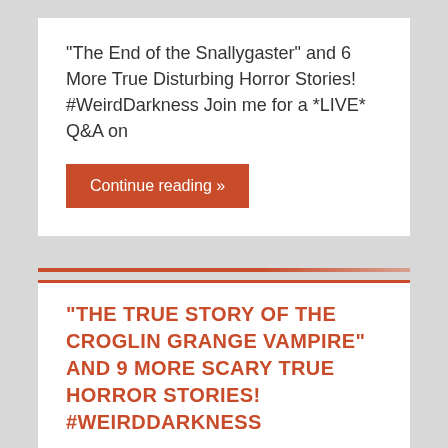“The End of the Snallygaster” and 6 More True Disturbing Horror Stories! #WeirdDarkness Join me for a *LIVE* Q&A on
Continue reading »
“THE TRUE STORY OF THE CROGLIN GRANGE VAMPIRE” AND 9 MORE SCARY TRUE HORROR STORIES! #WEIRDDARKNESS
April 24, 2018   Darren Marlar   DARREN'S BLOG